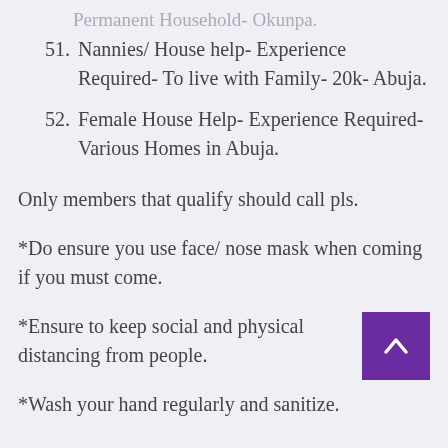51. Nannies/ House help- Experience Required- To live with Family- 20k- Abuja.
52. Female House Help- Experience Required- Various Homes in Abuja.
Only members that qualify should call pls.
*Do ensure you use face/ nose mask when coming if you must come.
*Ensure to keep social and physical distancing from people.
*Wash your hand regularly and sanitize.